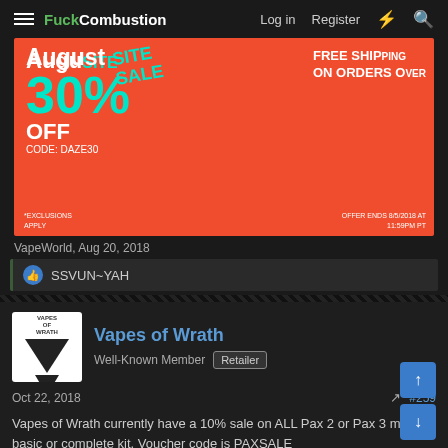FuckCombustion – Log in | Register
[Figure (photo): Advertisement banner: August 30% SITEWIDE SALE, CODE: DAZE30, FREE SHIPPING ON ORDERS OVER..., exclusions apply, offer ends 8/5/2018]
VapeWorld, Aug 20, 2018
SSVUN~YAH
Vapes of Wrath
Well-Known Member  Retailer
Oct 22, 2018
#259
Vapes of Wrath currently have a 10% sale on ALL Pax 2 or Pax 3 models, basic or complete kit. Voucher code is PAXSALE